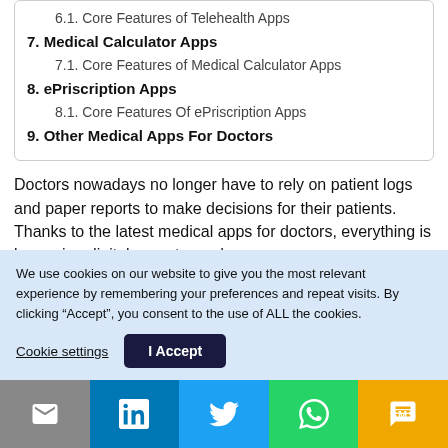6.1. Core Features of Telehealth Apps
7. Medical Calculator Apps
7.1. Core Features of Medical Calculator Apps
8. ePriscription Apps
8.1. Core Features Of ePriscription Apps
9. Other Medical Apps For Doctors
Doctors nowadays no longer have to rely on patient logs and paper reports to make decisions for their patients. Thanks to the latest medical apps for doctors, everything is becoming digital, remote, and
We use cookies on our website to give you the most relevant experience by remembering your preferences and repeat visits. By clicking “Accept”, you consent to the use of ALL the cookies.
Cookie settings | I Accept
[Figure (infographic): Social share bar with email, LinkedIn, Twitter, WhatsApp, and SMS icons]